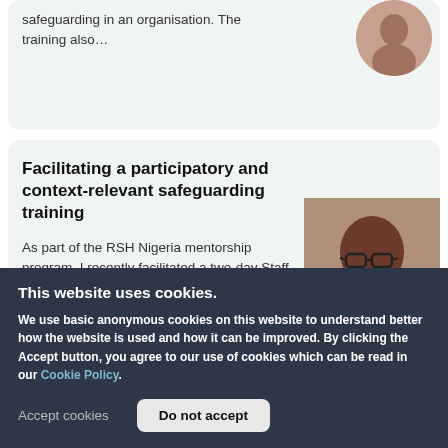safeguarding in an organisation. The training also…
Facilitating a participatory and context-relevant safeguarding training
As part of the RSH Nigeria mentorship program, I recently facilitated a two-day Staff Safeguarding Awareness Training for a civil society organisation (CSO) I mentor.
This website uses cookies.
We use basic anonymous cookies on this website to understand better how the website is used and how it can be improved. By clicking the Accept button, you agree to our use of cookies which can be read in our Cookie Policy.
Accept cookies
Do not accept